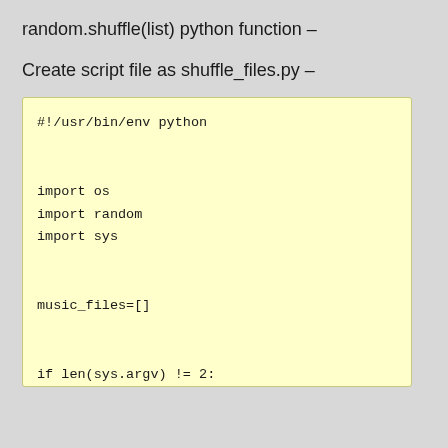random.shuffle(list) python function –
Create script file as shuffle_files.py –
#!/usr/bin/env python


import os
import random
import sys


music_files=[]


if len(sys.argv) != 2:
  print "Usage:", sys.argv[0], "/path/directory"
else:
  dir_name=sys.argv[1]
  if os.path.isdir(dir_name):
    for file_name in os.listdir(dir_name):